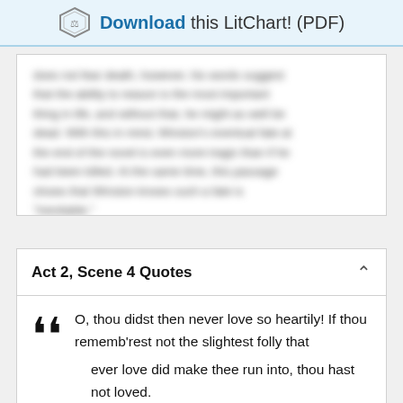Download this LitChart! (PDF)
[Figure (other): Blurred/obscured text excerpt about death, reason, and a character's fate at the end of the novel]
Act 2, Scene 4 Quotes
O, thou didst then never love so heartily! If thou rememb'rest not the slightest folly that ever love did make thee run into, thou hast not loved.